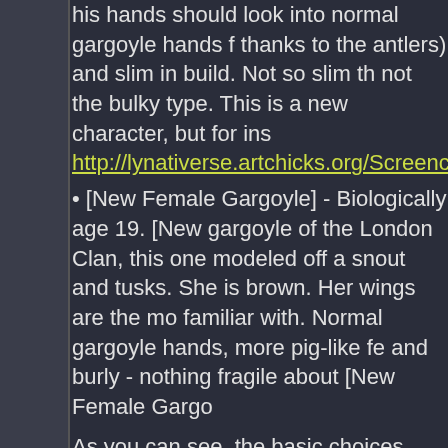his hands should look into normal gargoyle hands f thanks to the antlers) and slim in build. Not so slim th not the bulky type. This is a new character, but for ins http://lynativerse.artchicks.org/Screencaps/GL_Una.h
• [New Female Gargoyle] - Biologically age 19. [New gargoyle of the London Clan, this one modeled off a snout and tusks. She is brown. Her wings are the mo familiar with. Normal gargoyle hands, more pig-like fe and burly - nothing fragile about [New Female Gargo
As you can see, the basic choices were mine, but I g to life.
Here's my descriptions of the other characters you as
• COYOTE 5.0 - This is only SORT OF a new charac Coyote robots that preceded this one. They all have they're all different too. And lucky you get to design t check out: http://gargoyles.dracandros.com/Coyote_ "Leader of the Pack" (for Coyote 1.0) and "Upgrade" Two, Volume One DVD. (Coyotes 3.0 & 4.0 aren't ou scheme and the coyote-head motif. And the fact that VID-SCREEN that displays an image of a robotic h